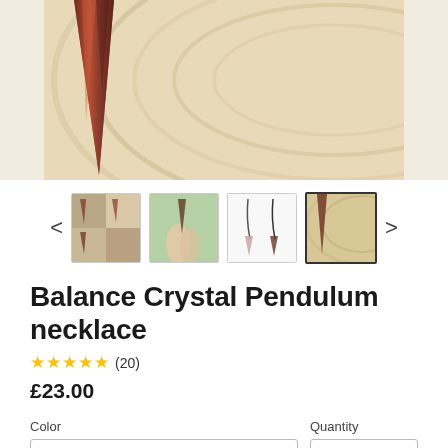[Figure (photo): Main product image showing a crystal pendulum necklace on a wooden surface with circular grain pattern]
[Figure (photo): Thumbnail row with 4 product images and left/right navigation arrows]
Balance Crystal Pendulum necklace
★★★★★ (20)
£23.00
Color
Quantity